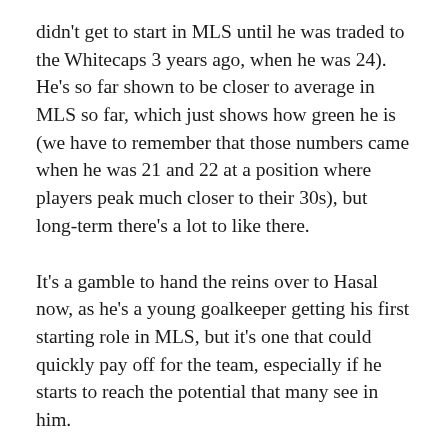didn't get to start in MLS until he was traded to the Whitecaps 3 years ago, when he was 24). He's so far shown to be closer to average in MLS so far, which just shows how green he is (we have to remember that those numbers came when he was 21 and 22 at a position where players peak much closer to their 30s), but long-term there's a lot to like there.
It's a gamble to hand the reins over to Hasal now, as he's a young goalkeeper getting his first starting role in MLS, but it's one that could quickly pay off for the team, especially if he starts to reach the potential that many see in him.
But with a veteran backup in the 33-year-old Evan Newton, who is a former USL goalkeeper of the year, the 'Caps do have it so that Newton can mentor and spell Hasal if needed for now, while allowing him to grow into the role.